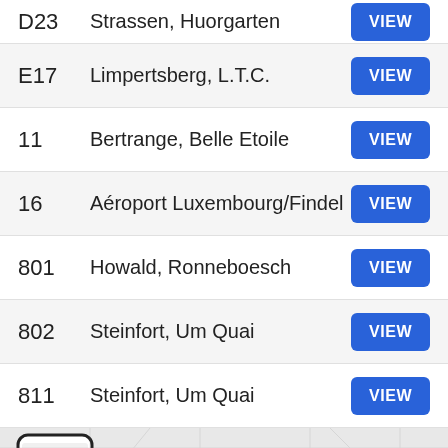D23 — Strassen, Huorgarten — VIEW
E17 — Limpertsberg, L.T.C. — VIEW
11 — Bertrange, Belle Etoile — VIEW
16 — Aéroport Luxembourg/Findel — VIEW
801 — Howald, Ronneboesch — VIEW
802 — Steinfort, Um Quai — VIEW
811 — Steinfort, Um Quai — VIEW
It's easier to get to Fischer with the app!
Get the App